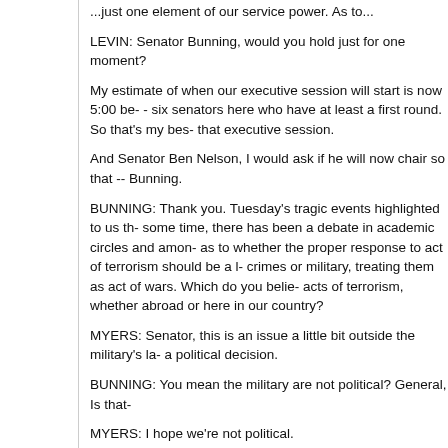...just one element of our service power. As to...
LEVIN: Senator Bunning, would you hold just for one moment?
My estimate of when our executive session will start is now 5:00 be- - six senators here who have at least a first round. So that's my bes- that executive session.
And Senator Ben Nelson, I would ask if he will now chair so that -- Bunning.
BUNNING: Thank you. Tuesday's tragic events highlighted to us th- some time, there has been a debate in academic circles and amon- as to whether the proper response to act of terrorism should be a l- crimes or military, treating them as act of wars. Which do you belie- acts of terrorism, whether abroad or here in our country?
MYERS: Senator, this is an issue a little bit outside the military's la- a political decision.
BUNNING: You mean the military are not political? General, Is that-
MYERS: I hope we're not political.
BUNNING: Goodness.
MYERS: Senator, I hope we're not political. What we need to do is military advice that we can.
BUNNING: What I'm getting as is we don't want the end result of a- to be handled in court because we believe it's an act of war. Now-